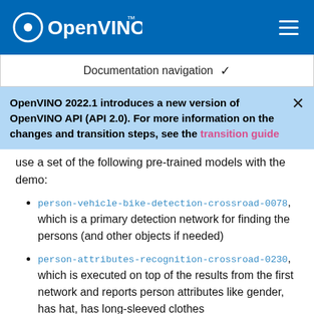OpenVINO
Documentation navigation
OpenVINO 2022.1 introduces a new version of OpenVINO API (API 2.0). For more information on the changes and transition steps, see the transition guide
use a set of the following pre-trained models with the demo:
person-vehicle-bike-detection-crossroad-0078, which is a primary detection network for finding the persons (and other objects if needed)
person-attributes-recognition-crossroad-0230, which is executed on top of the results from the first network and reports person attributes like gender, has hat, has long-sleeved clothes
person-reidentification-retail-0277, which is executed on top of the results from the first network